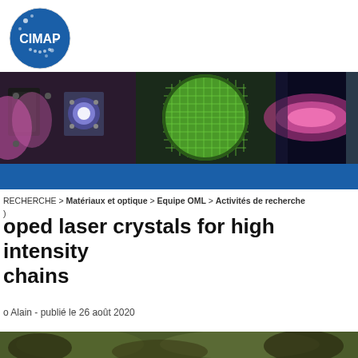[Figure (logo): CIMAP circular logo with blue background and white star pattern]
[Figure (photo): Banner strip with three scientific images: left shows laser/plasma equipment with pink light, center shows green silicon wafer/chip grid pattern in circular view, right shows pink/magenta plasma glow, and far right shows a dark vertical strip]
[Figure (infographic): Blue navigation bar]
RECHERCHE > Matériaux et optique > Equipe OML > Activités de recherche
oped laser crystals for high intensity chains
Alain - publié le 26 août 2020
[Figure (photo): Bottom strip showing partial view of scientific/nature imagery]